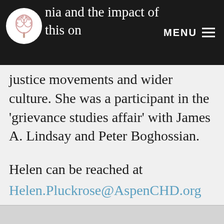MENU ≡
the impact of postmodern thought on nia and the impact of this on justice movements and wider culture. She was a participant in the 'grievance studies affair' with James A. Lindsay and Peter Boghossian.
Helen can be reached at
Helen.Pluckrose@AspenCHD.org